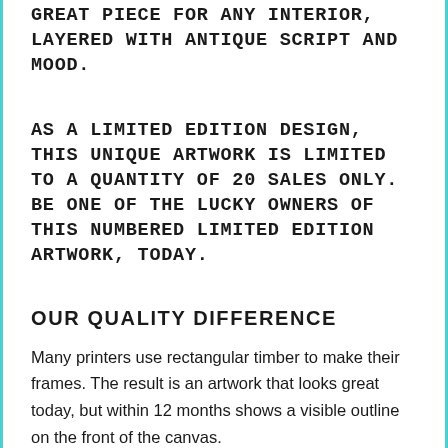GREAT PIECE FOR ANY INTERIOR, LAYERED WITH ANTIQUE SCRIPT AND MOOD.
AS A LIMITED EDITION DESIGN, THIS UNIQUE ARTWORK IS LIMITED TO A QUANTITY OF 20 SALES ONLY. BE ONE OF THE LUCKY OWNERS OF THIS NUMBERED LIMITED EDITION ARTWORK, TODAY.
OUR QUALITY DIFFERENCE
Many printers use rectangular timber to make their frames. The result is an artwork that looks great today, but within 12 months shows a visible outline on the front of the canvas.
Our frames are unique in that we profile both sides of